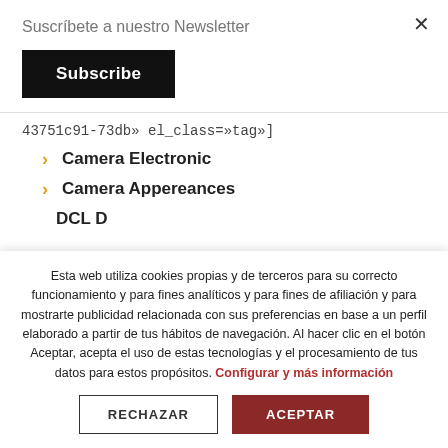Suscríbete a nuestro Newsletter
Subscribe
43751c91-73db» el_class=»tag»]
Camera Electronic
Camera Appereances
DCL D
Esta web utiliza cookies propias y de terceros para su correcto funcionamiento y para fines analíticos y para fines de afiliación y para mostrarte publicidad relacionada con sus preferencias en base a un perfil elaborado a partir de tus hábitos de navegación. Al hacer clic en el botón Aceptar, acepta el uso de estas tecnologías y el procesamiento de tus datos para estos propósitos. Configurar y más información
RECHAZAR
ACEPTAR